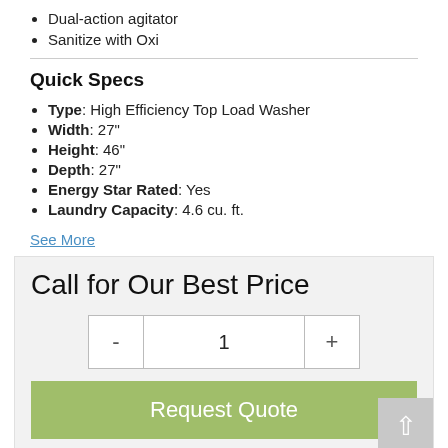Dual-action agitator
Sanitize with Oxi
Quick Specs
Type: High Efficiency Top Load Washer
Width: 27"
Height: 46"
Depth: 27"
Energy Star Rated: Yes
Laundry Capacity: 4.6 cu. ft.
See More
Call for Our Best Price
1
Request Quote